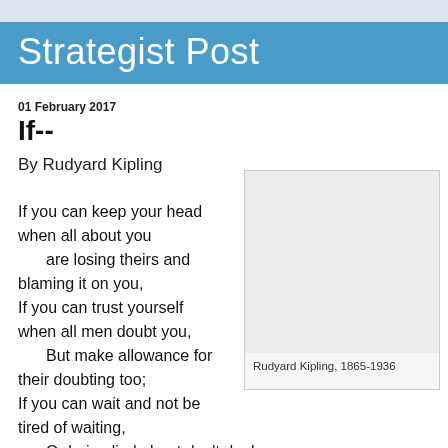Strategist Post
01 February 2017
If--
By Rudyard Kipling
If you can keep your head when all about you
    are losing theirs and blaming it on you,
If you can trust yourself when all men doubt you,
    But make allowance for their doubting too;
If you can wait and not be tired of waiting,
    Or being lied about don't deal in lies,
[Figure (photo): Portrait photo placeholder of Rudyard Kipling]
Rudyard Kipling, 1865-1936